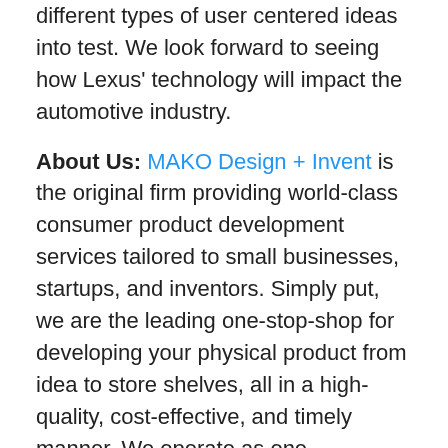different types of user centered ideas into test. We look forward to seeing how Lexus' technology will impact the automotive industry.
About Us: MAKO Design + Invent is the original firm providing world-class consumer product development services tailored to small businesses, startups, and inventors. Simply put, we are the leading one-stop-shop for developing your physical product from idea to store shelves, all in a high-quality, cost-effective, and timely manner. We operate as one powerhouse 30-person product design team spread across 4 offices to serve you (Austin, Miami, San Francisco, & Toronto). We have full-stack in-house industrial design, mechanical engineering, electrical engineering, patent referral, prototyping, and manufacturing services. To assist our startup and inventor clients, in addition to above, we help with business strategy, product strategy, marketing,